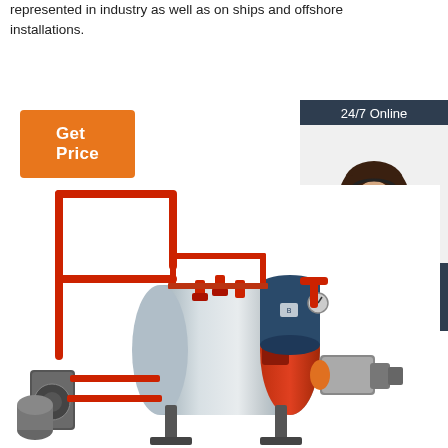represented in industry as well as on ships and offshore installations.
Get Price
24/7 Online
[Figure (photo): Customer service representative with headset smiling]
Click here for free chat !
QUOTATION
[Figure (photo): Industrial steam boiler with red pipe frame, stainless steel tank, orange burner end cap, and auxiliary equipment]